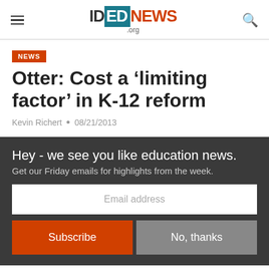IDEdNEWS.org
NEWS
Otter: Cost a ‘limiting factor’ in K-12 reform
Kevin Richert • 08/21/2013
Hey - we see you like education news. Get our Friday emails for highlights from the week.
Email address
Subscribe | No, thanks